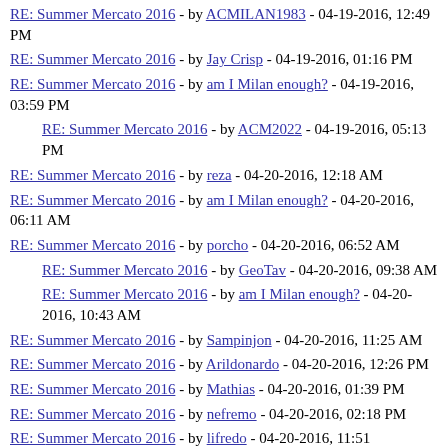RE: Summer Mercato 2016 - by ACMILAN1983 - 04-19-2016, 12:49 PM
RE: Summer Mercato 2016 - by Jay Crisp - 04-19-2016, 01:16 PM
RE: Summer Mercato 2016 - by am I Milan enough? - 04-19-2016, 03:59 PM
RE: Summer Mercato 2016 - by ACM2022 - 04-19-2016, 05:13 PM
RE: Summer Mercato 2016 - by reza - 04-20-2016, 12:18 AM
RE: Summer Mercato 2016 - by am I Milan enough? - 04-20-2016, 06:11 AM
RE: Summer Mercato 2016 - by porcho - 04-20-2016, 06:52 AM
RE: Summer Mercato 2016 - by GeoTav - 04-20-2016, 09:38 AM
RE: Summer Mercato 2016 - by am I Milan enough? - 04-20-2016, 10:43 AM
RE: Summer Mercato 2016 - by Sampinjon - 04-20-2016, 11:25 AM
RE: Summer Mercato 2016 - by Arildonardo - 04-20-2016, 12:26 PM
RE: Summer Mercato 2016 - by Mathias - 04-20-2016, 01:39 PM
RE: Summer Mercato 2016 - by nefremo - 04-20-2016, 02:18 PM
RE: Summer Mercato 2016 - by lifredo - 04-20-2016, 11:51